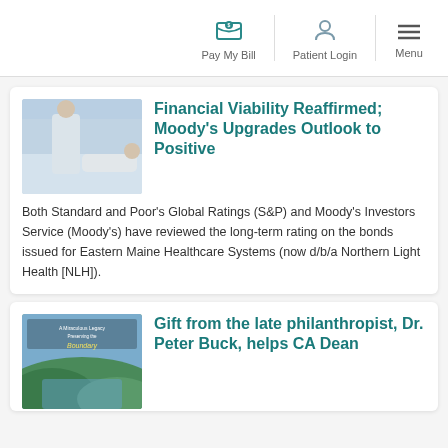Pay My Bill | Patient Login | Menu
Financial Viability Reaffirmed; Moody's Upgrades Outlook to Positive
Both Standard and Poor's Global Ratings (S&P) and Moody's Investors Service (Moody's) have reviewed the long-term rating on the bonds issued for Eastern Maine Healthcare Systems (now d/b/a Northern Light Health [NLH]).
Gift from the late philanthropist, Dr. Peter Buck, helps CA Dean